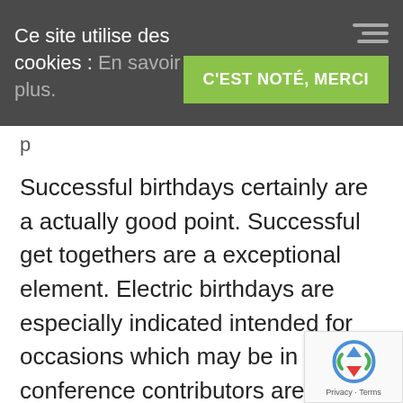Ce site utilise des cookies : En savoir plus.
C'EST NOTÉ, MERCI
p
Successful birthdays certainly are a actually good point. Successful get togethers are a exceptional element. Electric birthdays are especially indicated intended for occasions which may be in which conference contributors are attached all over the world and they are furthermore a great choice in the event that you really want to get through to be able to a significant few00 folks way too, such as with a dsl conference. Virtual meetings are specially advised intended for situations just where meeting individuals are world–